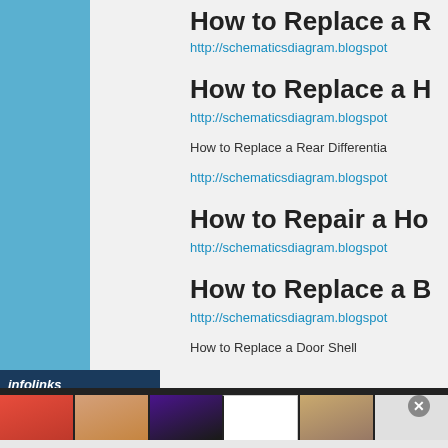How to Replace a R...
http://schematicsdiagram.blogspot...
How to Replace a H...
http://schematicsdiagram.blogspot...
How to Replace a Rear Differentia...
http://schematicsdiagram.blogspot...
How to Repair a Ho...
http://schematicsdiagram.blogspot...
How to Replace a B...
http://schematicsdiagram.blogspot...
How to Replace a Door Shell...
[Figure (screenshot): Infolinks advertisement bar with ULTA beauty ad showing makeup images and SHOP NOW call to action]